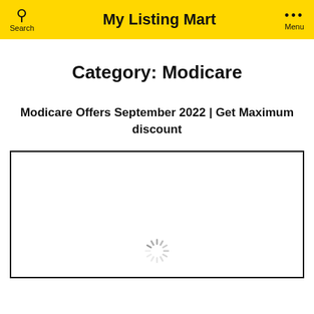My Listing Mart
Category: Modicare
Modicare Offers September 2022 | Get Maximum discount
[Figure (photo): Loading image placeholder with spinner icon inside a bordered rectangle]